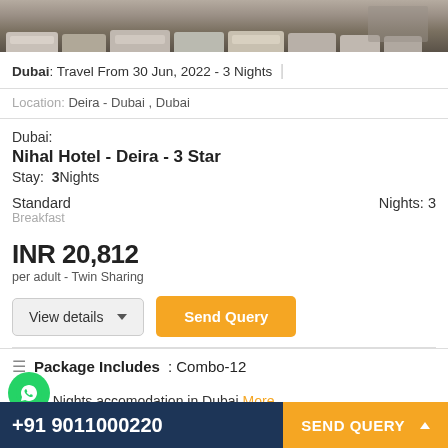[Figure (photo): Parking lot with cars, hotel building in background]
Dubai: Travel From 30 Jun, 2022 - 3 Nights
Location: Deira - Dubai , Dubai
Dubai:
Nihal Hotel - Deira - 3 Star
Stay: 3Nights
Standard    Nights: 3
Breakfast
INR 20,812
per adult - Twin Sharing
View details ▾
Send Query
Package Includes : Combo-12
3 Nights accomodation in Dubai More
+91 9011000220   SEND QUERY ▲